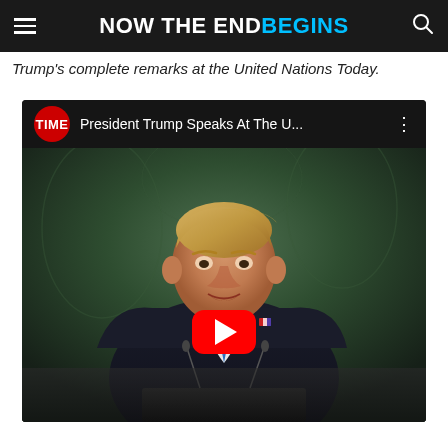NOW THE END BEGINS
Trump's complete remarks at the United Nations Today.
[Figure (screenshot): YouTube video embed showing President Trump speaking at the United Nations, thumbnail with TIME logo badge and title 'President Trump Speaks At The U...' with a red YouTube play button overlay in the center.]